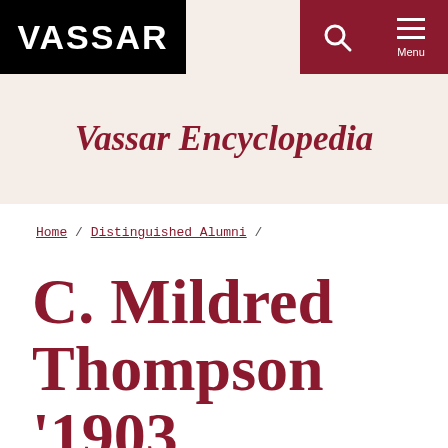VASSAR
Vassar Encyclopedia
Home / Distinguished Alumni /
C. Mildred Thompson '1903